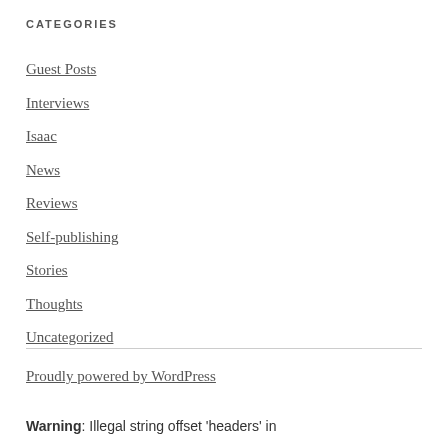CATEGORIES
Guest Posts
Interviews
Isaac
News
Reviews
Self-publishing
Stories
Thoughts
Uncategorized
Proudly powered by WordPress
Warning: Illegal string offset 'headers' in